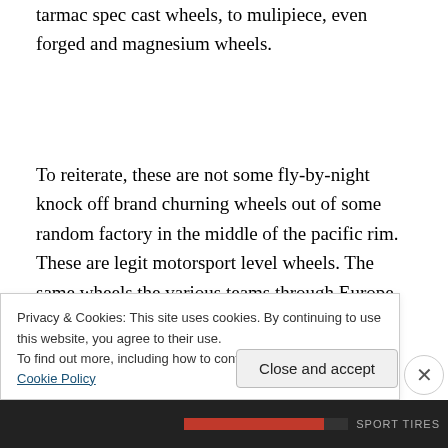tarmac spec cast wheels, to mulipiece, even forged and magnesium wheels.
To reiterate, these are not some fly-by-night knock off brand churning wheels out of some random factory in the middle of the pacific rim. These are legit motorsport level wheels. The same wheels the various teams through Europe use on their car, are the exact same wheels you
Privacy & Cookies: This site uses cookies. By continuing to use this website, you agree to their use.
To find out more, including how to control cookies, see here: Cookie Policy
Close and accept